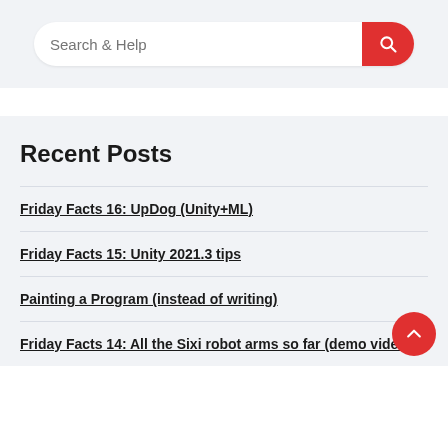[Figure (screenshot): Search bar with placeholder text 'Search & Help' and a red search button with magnifying glass icon]
Recent Posts
Friday Facts 16: UpDog (Unity+ML)
Friday Facts 15: Unity 2021.3 tips
Painting a Program (instead of writing)
Friday Facts 14: All the Sixi robot arms so far (demo video)